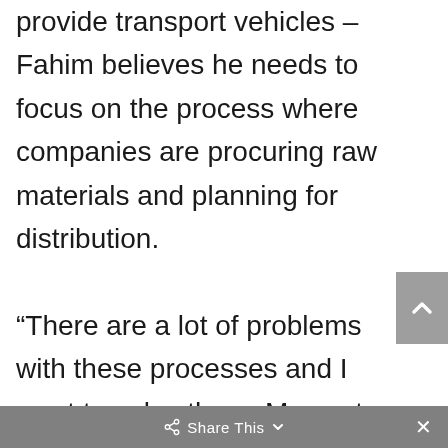provide transport vehicles – Fahim believes he needs to focus on the process where companies are procuring raw materials and planning for distribution.

“There are a lot of problems with these processes and I want to solve them. My next goal is to solve the raw material procurement problem for